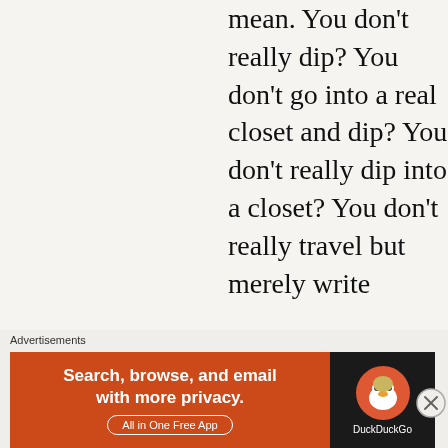mean. You don't really dip? You don't go into a real closet and dip? You don't really dip into a closet? You don't really travel but merely write
Advertisements
[Figure (other): DuckDuckGo advertisement banner: orange left panel reading 'Search, browse, and email with more privacy. All in One Free App' and dark right panel with DuckDuckGo duck logo and brand name.]